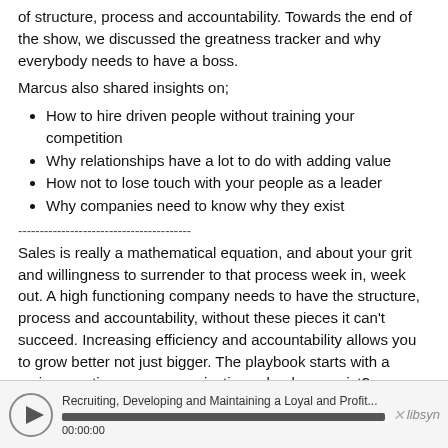of structure, process and accountability. Towards the end of the show, we discussed the greatness tracker and why everybody needs to have a boss.
Marcus also shared insights on;
How to hire driven people without training your competition
Why relationships have a lot to do with adding value
How not to lose touch with your people as a leader
Why companies need to know why they exist
----------------------------------------
Sales is really a mathematical equation, and about your grit and willingness to surrender to that process week in, week out. A high functioning company needs to have the structure, process and accountability, without these pieces it can't succeed. Increasing efficiency and accountability allows you to grow better not just bigger. The playbook starts with a major question, as an organization, why do we exist?
----------------------------------------
Guest Bio-
Marcus is the VP of Sales at Summit Funding. Go to http://summitfunding.net/ for more information.
[Figure (other): Audio player bar showing podcast episode: Recruiting, Developing and Maintaining a Loyal and Profit... with play button, progress bar at 00:00:00, and Libsyn logo]